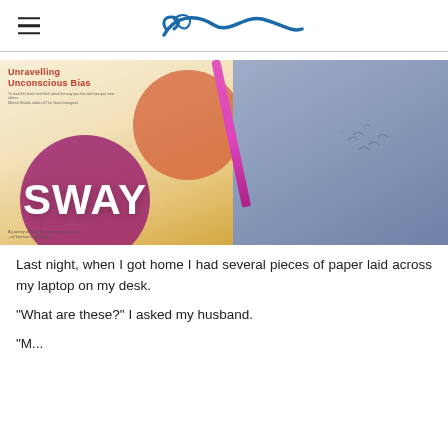[Figure (photo): Photo of the book 'SWAY: Unravelling Unconscious Bias' with a purple/magenta circle bearing white text 'SWAY', alongside colorful overlapping circles in orange and red on a warm golden background, next to a blue notebook with bird sketches and a pink/magenta pen.]
Last night, when I got home I had several pieces of paper laid across my laptop on my desk.
"What are these?" I asked my husband.
"M...